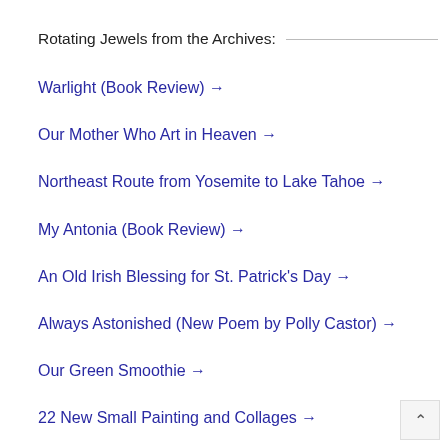Rotating Jewels from the Archives:
Warlight (Book Review) →
Our Mother Who Art in Heaven →
Northeast Route from Yosemite to Lake Tahoe →
My Antonia (Book Review) →
An Old Irish Blessing for St. Patrick's Day →
Always Astonished (New Poem by Polly Castor) →
Our Green Smoothie →
22 New Small Painting and Collages →